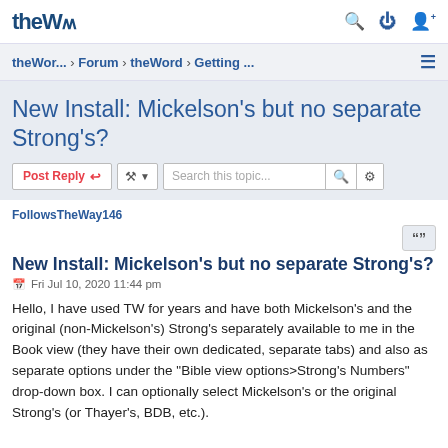theW... › Forum › theWord › Getting ...
New Install: Mickelson's but no separate Strong's?
Post Reply | Search this topic...
FollowsTheWay146
New Install: Mickelson's but no separate Strong's?
Fri Jul 10, 2020 11:44 pm
Hello, I have used TW for years and have both Mickelson's and the original (non-Mickelson's) Strong's separately available to me in the Book view (they have their own dedicated, separate tabs) and also as separate options under the "Bible view options>Strong's Numbers" drop-down box. I can optionally select Mickelson's or the original Strong's (or Thayer's, BDB, etc.).